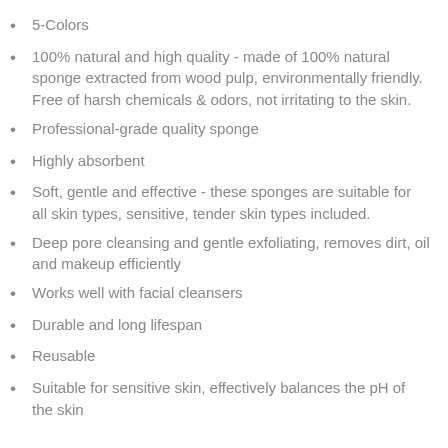5-Colors
100% natural and high quality - made of 100% natural sponge extracted from wood pulp, environmentally friendly. Free of harsh chemicals & odors, not irritating to the skin.
Professional-grade quality sponge
Highly absorbent
Soft, gentle and effective - these sponges are suitable for all skin types, sensitive, tender skin types included.
Deep pore cleansing and gentle exfoliating, removes dirt, oil and makeup efficiently
Works well with facial cleansers
Durable and long lifespan
Reusable
Suitable for sensitive skin, effectively balances the pH of the skin